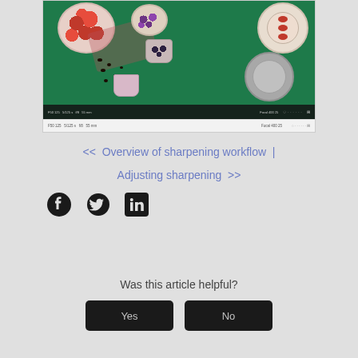[Figure (screenshot): Screenshot of a photo editing application showing a food photography image with raspberries, blueberries, and other red fruits on a green background. A toolbar and status bar are visible at the bottom of the application window.]
<< Overview of sharpening workflow | Adjusting sharpening >>
[Figure (infographic): Social media share icons: Facebook, Twitter, LinkedIn]
Was this article helpful?
Yes
No